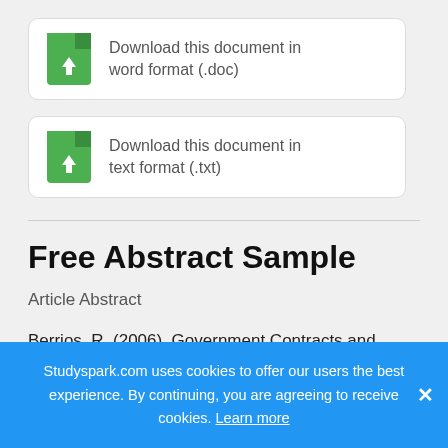[Figure (other): Green file icon with download arrow for .doc format]
Download this document in word format (.doc)
[Figure (other): Green file icon with download arrow for .txt format]
Download this document in text format (.txt)
Free Abstract Sample
Article Abstract
Berrios, R. (2006). Government Contracts and
Studyspark.com uses cookies to offer our users the best experience. By continuing, you are agreeing to receive cookies. Learn more